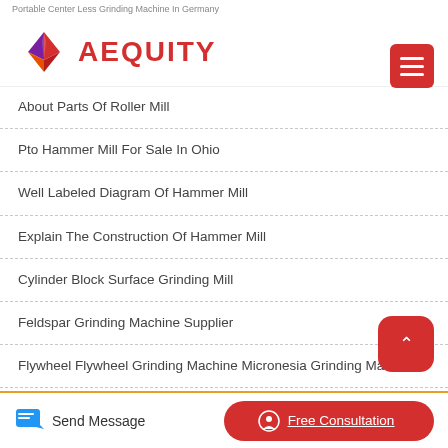Portable Center Less Grinding Machine In Germany
[Figure (logo): Aequity logo with geometric diamond shape in red, purple and orange, with red text AEQUITY]
About Parts Of Roller Mill
Pto Hammer Mill For Sale In Ohio
Well Labeled Diagram Of Hammer Mill
Explain The Construction Of Hammer Mill
Cylinder Block Surface Grinding Mill
Feldspar Grinding Machine Supplier
Flywheel Flywheel Grinding Machine Micronesia Grinding Machine
Send Message | Free Consultation